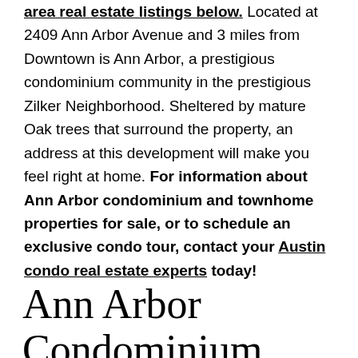area real estate listings below. Located at 2409 Ann Arbor Avenue and 3 miles from Downtown is Ann Arbor, a prestigious condominium community in the prestigious Zilker Neighborhood. Sheltered by mature Oak trees that surround the property, an address at this development will make you feel right at home. For information about Ann Arbor condominium and townhome properties for sale, or to schedule an exclusive condo tour, contact your Austin condo real estate experts today!
Ann Arbor Condominium Listings